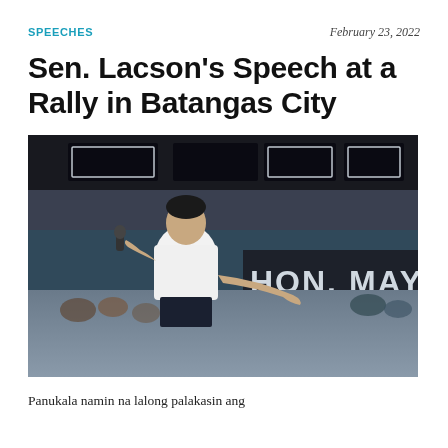SPEECHES
February 23, 2022
Sen. Lacson's Speech at a Rally in Batangas City
[Figure (photo): Senator Lacson speaking into a microphone on stage at a rally in an indoor sports arena, wearing a white polo shirt, with crowd in background and a banner reading HON. MAY]
Panukala namin na lalong palakasin ang